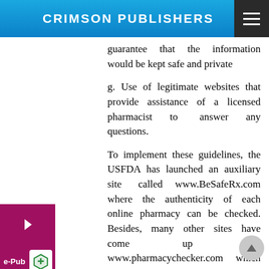CRIMSON PUBLISHERS
guarantee that the information would be kept safe and private
g. Use of legitimate websites that provide assistance of a licensed pharmacist to answer any questions.
To implement these guidelines, the USFDA has launched an auxiliary site called www.BeSafeRx.com where the authenticity of each online pharmacy can be checked. Besides, many other sites have come up like www.pharmacychecker.com which work on the same lines.
Other organizations involved in